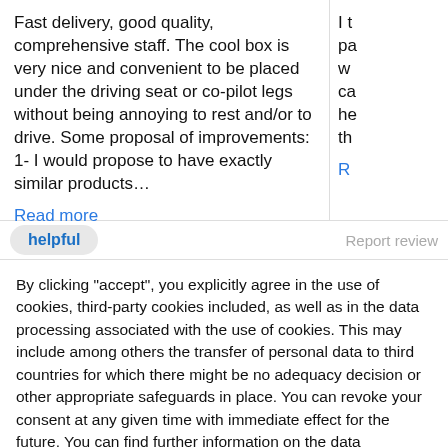Fast delivery, good quality, comprehensive staff. The cool box is very nice and convenient to be placed under the driving seat or co-pilot legs without being annoying to rest and/or to drive. Some proposal of improvements: 1- I would propose to have exactly similar products…
Read more
helpful
Report review
By clicking "accept", you explicitly agree in the use of cookies, third-party cookies included, as well as in the data processing associated with the use of cookies. This may include among others the transfer of personal data to third countries for which there might be no adequacy decision or other appropriate safeguards in place. You can revoke your consent at any given time with immediate effect for the future. You can find further information on the data processing purposes, opt-out options, your rights, and the risks of data transfers to third countries here.
ACCEPT